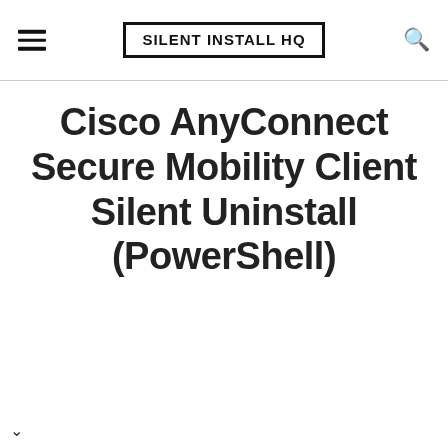SILENT INSTALL HQ
Cisco AnyConnect Secure Mobility Client Silent Uninstall (PowerShell)